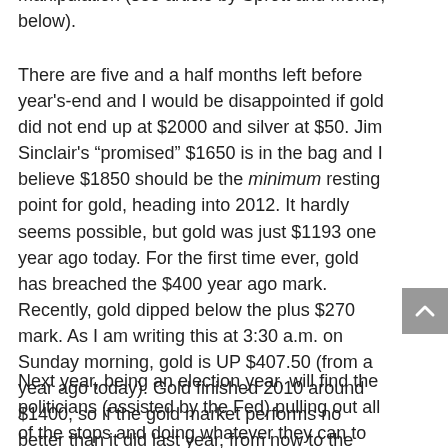manipulation (see article by Sprott and Morris, below).
There are five and a half months left before year's-end and I would be disappointed if gold did not end up at $2000 and silver at $50. Jim Sinclair's “promised” $1650 is in the bag and I believe $1850 should be the minimum resting point for gold, heading into 2012. It hardly seems possible, but gold was just $1193 one year ago today. For the first time ever, gold has breached the $400 year ago mark. Recently, gold dipped below the plus $270 mark. As I am writing this at 3:30 a.m. on Sunday morning, gold is UP $407.50 (from a year ago today). Gold finished 2010 around $1400, so if the gold market performs no better than it did last year, from now to the end of the year, we will finish the year above $1800.
Next year, being an election year, will find the politicians (assisted by the Fed) pulling out all of the stops and doing whatever they can to manipulate